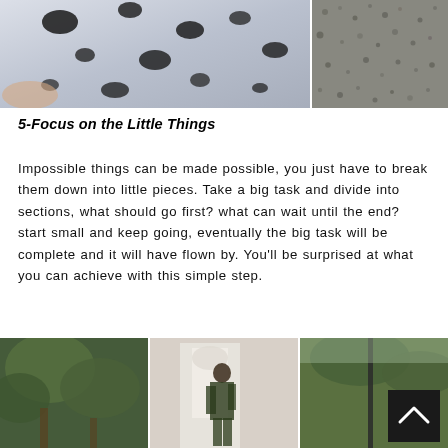[Figure (photo): Two fashion/lifestyle photos side by side at the top: left shows a white garment with black spots/dots pattern, right shows a textured grey surface (gravel or stone).]
5-Focus on the Little Things
Impossible things can be made possible, you just have to break them down into little pieces. Take a big task and divide into sections, what should go first? what can wait until the end? start small and keep going, eventually the big task will be complete and it will have flown by. You’ll be surprised at what you can achieve with this simple step.
[Figure (photo): Three lifestyle/fashion photos at the bottom of the page showing outdoor scenes with trees, a person posing near a white door/building, and a street scene with a pole.]